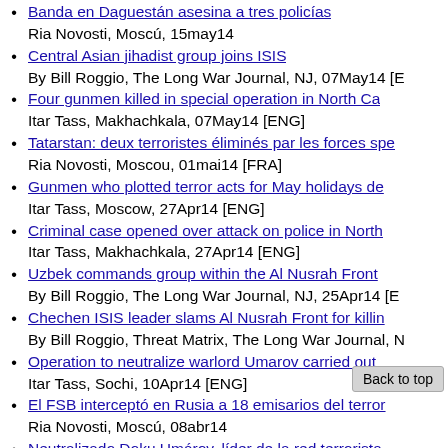Banda en Daguestán asesina a tres policías
Ria Novosti, Moscú, 15may14
Central Asian jihadist group joins ISIS
By Bill Roggio, The Long War Journal, NJ, 07May14 [E...
Four gunmen killed in special operation in North Ca...
Itar Tass, Makhachkala, 07May14 [ENG]
Tatarstan: deux terroristes éliminés par les forces spe...
Ria Novosti, Moscou, 01mai14 [FRA]
Gunmen who plotted terror acts for May holidays de...
Itar Tass, Moscow, 27Apr14 [ENG]
Criminal case opened over attack on police in North...
Itar Tass, Makhachkala, 27Apr14 [ENG]
Uzbek commands group within the Al Nusrah Front...
By Bill Roggio, The Long War Journal, NJ, 25Apr14 [E...
Chechen ISIS leader slams Al Nusrah Front for killin...
By Bill Roggio, Threat Matrix, The Long War Journal, ...
Operation to neutralize warlord Umarov carried out...
Itar Tass, Sochi, 10Apr14 [ENG]
El FSB interceptó en Rusia a 18 emisarios del terror...
Ria Novosti, Moscú, 08abr14
Neutralizado Doku Umárov, líder de la red terrorista...
Ria Novosti, Moscú, 08abr14
FSB confirms Chechen militant leader Doku Umaro...
Itar Tass, Moscow, 08Apr14 [ENG]
Le FSB annonce la mort de Dokou Oumarov